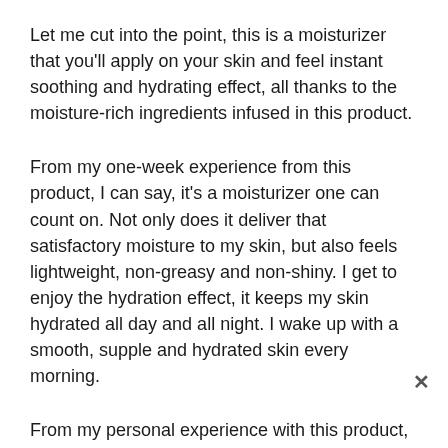Let me cut into the point, this is a moisturizer that you'll apply on your skin and feel instant soothing and hydrating effect, all thanks to the moisture-rich ingredients infused in this product.
From my one-week experience from this product, I can say, it's a moisturizer one can count on. Not only does it deliver that satisfactory moisture to my skin, but also feels lightweight, non-greasy and non-shiny. I get to enjoy the hydration effect, it keeps my skin hydrated all day and all night. I wake up with a smooth, supple and hydrated skin every morning.
From my personal experience with this product, I had no irritation or acne breakout, all thanks to the skin friendly...